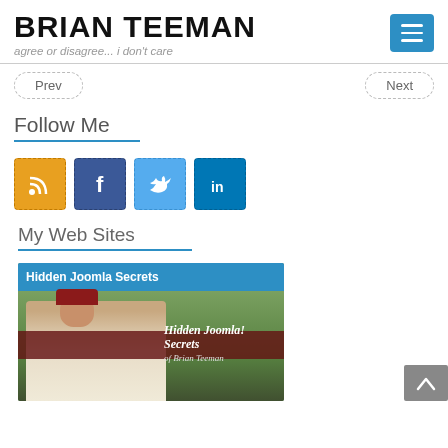BRIAN TEEMAN
agree or disagree... i don't care
Prev
Next
Follow Me
[Figure (illustration): Social media icons row: RSS (orange), Facebook (dark blue), Twitter (light blue), LinkedIn (blue)]
My Web Sites
[Figure (photo): Hidden Joomla Secrets banner image showing Brian Teeman with red hat and glasses, with overlay text 'Hidden Joomla! Secrets of Brian Teeman']